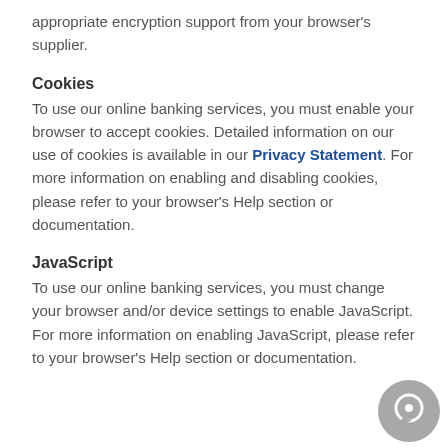appropriate encryption support from your browser's supplier.
Cookies
To use our online banking services, you must enable your browser to accept cookies. Detailed information on our use of cookies is available in our Privacy Statement. For more information on enabling and disabling cookies, please refer to your browser's Help section or documentation.
JavaScript
To use our online banking services, you must change your browser and/or device settings to enable JavaScript. For more information on enabling JavaScript, please refer to your browser's Help section or documentation.